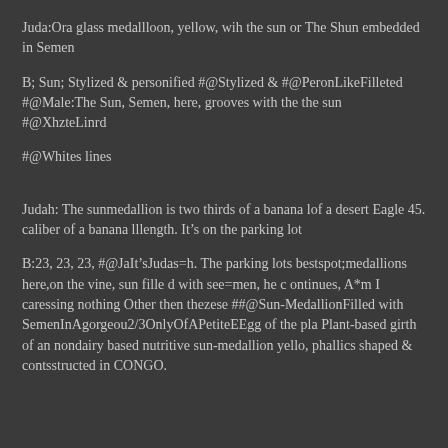Juda:Ora glass medallloon, yellow, wih the sun or The Shun embedded in Semen
B; Sun; Stylized & personified #@Stylized & #@PeronLikeFilleted #@Male:The Sun, Semen, here, grooves with the the sun #@XhzteLinrd
#@Whites lines
Judah: The sunmedallion is two thirds of a banana lof a desert Eagle 45. caliber of a banana lllength. It’s on the parking lot
B:23, 23, 23, #@JaIt’sJudas=h. The parking lots bestspot;medallions here,on the vine, sun fille d with see=men, he c ontinues, A*m I caressing nothing Other then thezese ##@Sun-MedallionFilled with SemenInAgorgeou2/3OnlyOfAPetiteEEgg of the pla Plant-based girth of an nondairy based nutritive sun-medallion yello, phallics shaped & contsstructed in CONGO.